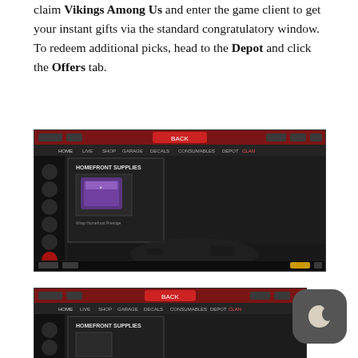claim Vikings Among Us and enter the game client to get your instant gifts via the standard congratulatory window. To redeem additional picks, head to the Depot and click the Offers tab.
[Figure (screenshot): Screenshot of a dark game client interface showing the Depot screen with 'HOMEFRONT SUPPLIES' panel and a purple supply box item on the left side, game world visible in background.]
[Figure (screenshot): Partial screenshot of the same game client interface showing the Depot 'HOMEFRONT SUPPLIES' panel, partially cut off at bottom of page. A dark mode toggle button (moon icon) overlaps the top-right corner.]